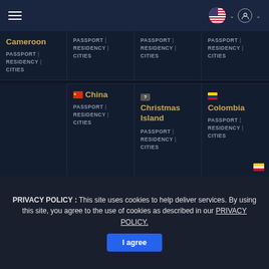Navigation bar with hamburger menu, US flag selector, and user icon
Cameroon
PASSPORT | RESIDENCY | CITIES
PASSPORT | RESIDENCY | CITIES
PASSPORT | RESIDENCY | CITIES
PASSPORT | RESIDENCY | CITIES
China
PASSPORT | RESIDENCY | CITIES
Christmas Island
PASSPORT | RESIDENCY | CITIES
Colombia
PASSPORT | RESIDENCY | CITIES
PRIVACY POLICY : This site uses cookies to help deliver services. By using this site, you agree to the use of cookies as described in our PRIVACY POLICY. I agree